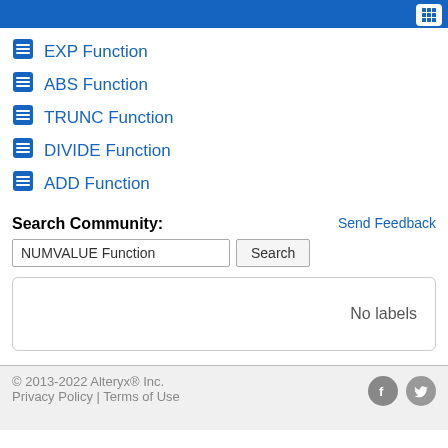EXP Function
ABS Function
TRUNC Function
DIVIDE Function
ADD Function
Send Feedback
Search Community:
NUMVALUE Function
No labels
© 2013-2022 Alteryx® Inc.
Privacy Policy | Terms of Use